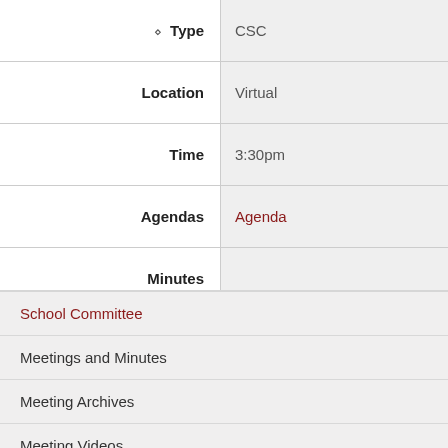| Type | CSC | Workshop | Joint |
| --- | --- | --- | --- |
| Location | Virtual | Ripley, Conf. Room 4 | Riple… |
| Time | 3:30pm | 4:00pm | 6:00p… |
| Agendas | Agenda | Agenda | Agen… |
| Minutes |  |  |  |
School Committee
Meetings and Minutes
Meeting Archives
Meeting Videos
Advisory and Sub Committees
CCHS Campus Advisory Committee